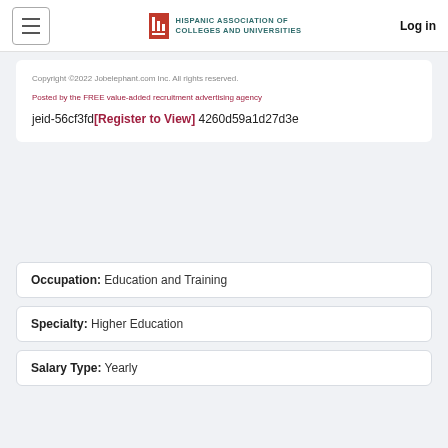HISPANIC ASSOCIATION OF COLLEGES AND UNIVERSITIES | Log in
Copyright ©2022 Jobelephant.com Inc. All rights reserved.
Posted by the FREE value-added recruitment advertising agency
jeid-56cf3fd[Register to View] 4260d59a1d27d3e
Occupation: Education and Training
Specialty: Higher Education
Salary Type: Yearly